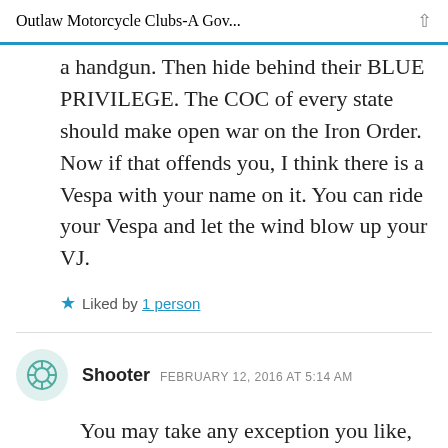Outlaw Motorcycle Clubs-A Gov...
a handgun. Then hide behind their BLUE PRIVILEGE. The COC of every state should make open war on the Iron Order. Now if that offends you, I think there is a Vespa with your name on it. You can ride your Vespa and let the wind blow up your VJ.
Liked by 1 person
Shooter  FEBRUARY 12, 2016 AT 5:14 AM
You may take any exception you like,